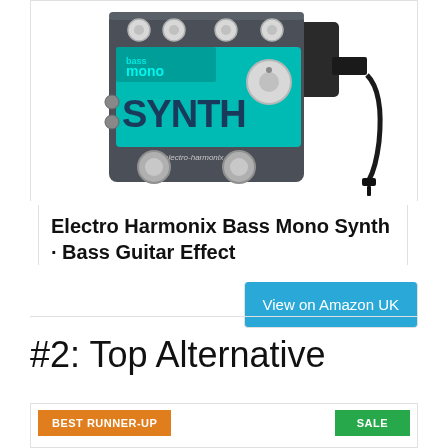[Figure (photo): Electro Harmonix Bass Mono Synth bass guitar effects pedal with power adapter, shown on white background. The pedal is dark gray/slate colored with teal/turquoise branding reading 'bass mono SYNTH' and 'electro-harmonix'. Multiple white knobs on top and two footswitches at the bottom.]
Electro Harmonix Bass Mono Synth · Bass Guitar Effect
View on Amazon UK
#2: Top Alternative
BEST RUNNER-UP
SALE